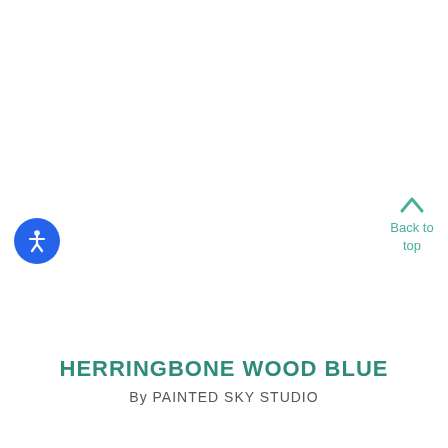[Figure (illustration): Accessibility icon button — blue circle with white universal accessibility person symbol]
[Figure (illustration): Back to top navigation element with teal upward chevron arrow above the text 'Back to top']
HERRINGBONE WOOD BLUE
By PAINTED SKY STUDIO